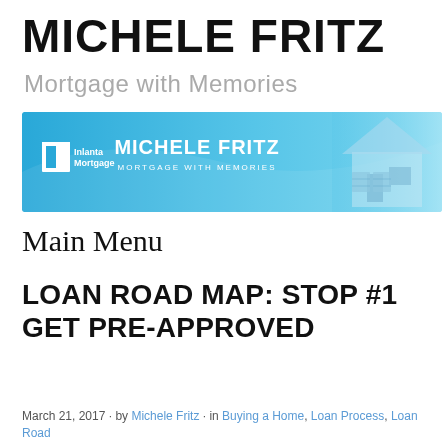MICHELE FRITZ
Mortgage with Memories
[Figure (illustration): Banner image for Michele Fritz Mortgage with Memories at Inlanta Mortgage, featuring a blue gradient background with the Inlanta Mortgage logo on the left, the text MICHELE FRITZ and MORTGAGE WITH MEMORIES in the center, and a house image on the right.]
Main Menu
LOAN ROAD MAP: STOP #1 GET PRE-APPROVED
March 21, 2017 · by Michele Fritz · in Buying a Home, Loan Process, Loan Road Map...